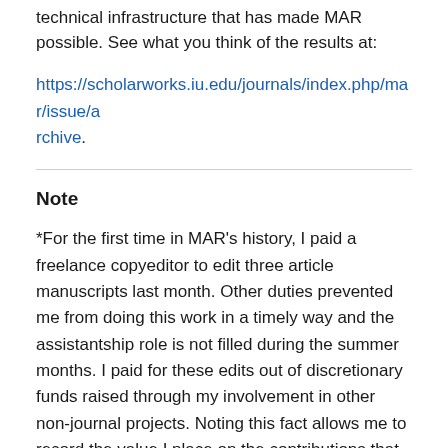technical infrastructure that has made MAR possible. See what you think of the results at: https://scholarworks.iu.edu/journals/index.php/mar/issue/archive.
Note
*For the first time in MAR's history, I paid a freelance copyeditor to edit three article manuscripts last month. Other duties prevented me from doing this work in a timely way and the assistantship role is not filled during the summer months. I paid for these edits out of discretionary funds raised through my involvement in other non-journal projects. Noting this fact allows me to record the value I place on the contributions that publishing professionals make in scholarly communication work. The DIY nature of MAR is an outgrowth of its nature and scale and is not a